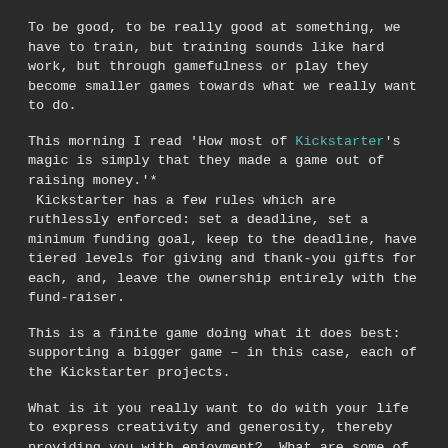To be good, to be really good at something, we have to train, but training sounds like hard work, but through gamefulness or play they become smaller games towards what we really want to do.
This morning I read 'How most of Kickstarter's magic is simply that they made a game out of raising money.'*  Kickstarter has a few rules which are ruthlessly enforced: set a deadline, set a minimum funding goal, keep to the deadline, have tiered levels for giving and thank-you gifts for each, and, leave the ownership entirely with the fund-raiser.
This is a finite game doing what it does best: supporting a bigger game – in this case, each of the Kickstarter projects.
What is it you really want to do with your life to express creativity and generosity, thereby providing you with enjoyment?  What are some of the smaller games (training) you need to play in order to pursue the larger game and to up your game?**